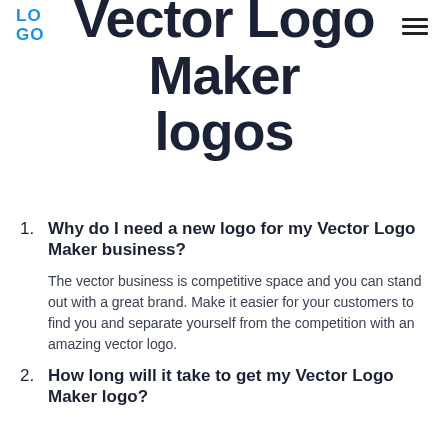LOGO | (hamburger menu)
Vector Logo Maker logos
1. Why do I need a new logo for my Vector Logo Maker business?
The vector business is competitive space and you can stand out with a great brand. Make it easier for your customers to find you and separate yourself from the competition with an amazing vector logo.
2. How long will it take to get my Vector Logo Maker logo?